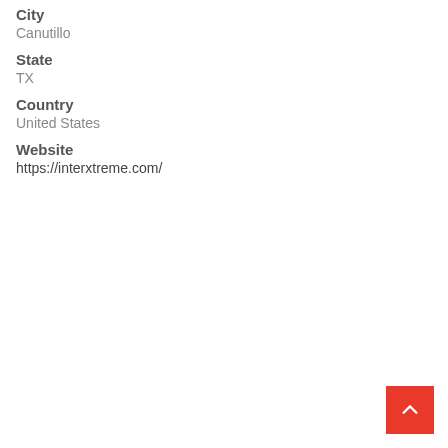City
Canutillo
State
TX
Country
United States
Website
https://interxtreme.com/